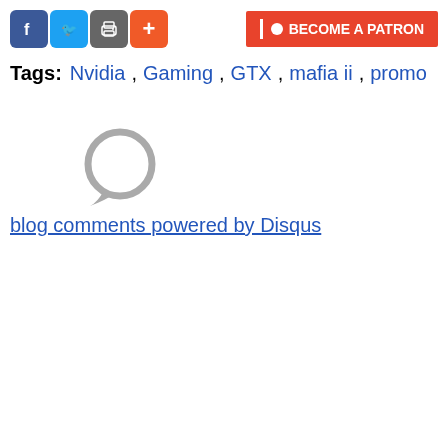[Figure (other): Social share buttons: Facebook (blue), Twitter (blue), share/print (gray), plus/add (orange-red)]
[Figure (other): Become a Patron button with Patreon logo (red background, white text)]
Tags:   Nvidia ,   Gaming ,   GTX ,   mafia ii ,   promo
[Figure (other): Speech bubble / comment icon in gray]
blog comments powered by Disqus